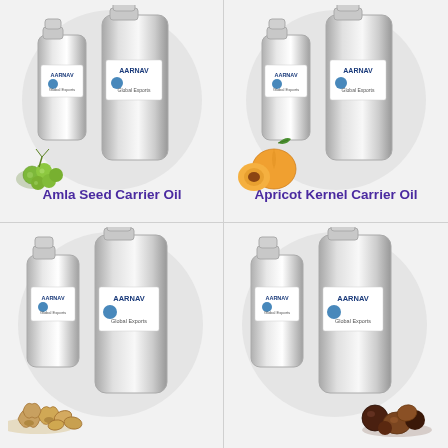[Figure (photo): Two silver aluminum bottles with AARNAV Global Exports labels, and green gooseberries/amla fruit in front, on a light grey circle background]
Amla Seed Carrier Oil
[Figure (photo): Two silver aluminum bottles with AARNAV Global Exports labels, and an apricot (cut open showing kernel) in front, on a light grey circle background]
Apricot Kernel Carrier Oil
[Figure (photo): Two silver aluminum bottles with AARNAV Global Exports labels, and peanuts in front, on a light grey circle background]
[Figure (photo): Two silver aluminum bottles with AARNAV Global Exports labels, and mixed nuts/seeds in front, on a light grey circle background]